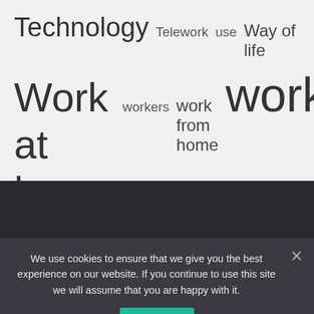[Figure (other): Tag cloud showing terms related to remote work: 'Technology', 'Telework', 'use', 'Way of life', 'Work at home', 'workers', 'work from home', 'works' in varying font sizes on a light gray background]
We use cookies to ensure that we give you the best experience on our website. If you continue to use this site we will assume that you are happy with it.